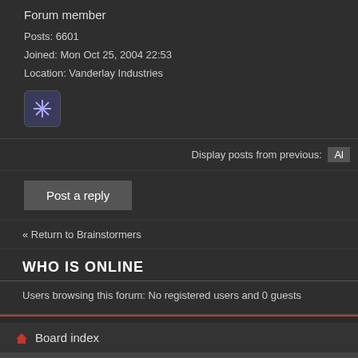Forum member
Posts: 6601
Joined: Mon Oct 25, 2004 22:53
Location: Vanderlay Industries
[Figure (other): Small avatar icon with asterisk/snowflake symbol in a rounded square box]
Display posts from previous: Al
Post a reply
« Return to Brainstormers
WHO IS ONLINE
Users browsing this forum: No registered users and 0 guests
Board index
© COPYRIGHT 1999–2022 PERUN.HR    KONTAKT | O UDRUZI | IMPRESSU